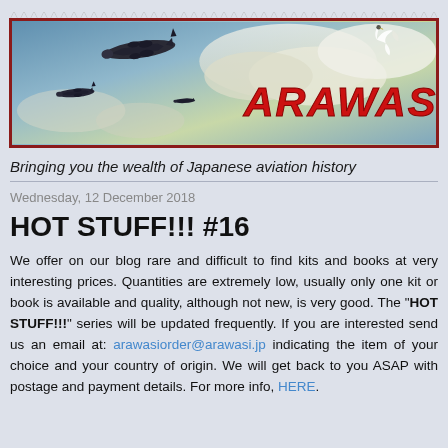[Figure (illustration): Arawasi banner/logo with WWII Japanese aircraft silhouettes flying through clouds and the red italic text 'ARAWASI' with a white bird (egret/heron) to its right, framed by a dark red border with zigzag/perforated top edge.]
Bringing you the wealth of Japanese aviation history
Wednesday, 12 December 2018
HOT STUFF!!! #16
We offer on our blog rare and difficult to find kits and books at very interesting prices. Quantities are extremely low, usually only one kit or book is available and quality, although not new, is very good. The "HOT STUFF!!!" series will be updated frequently. If you are interested send us an email at: arawasiorder@arawasi.jp indicating the item of your choice and your country of origin. We will get back to you ASAP with postage and payment details. For more info, HERE.